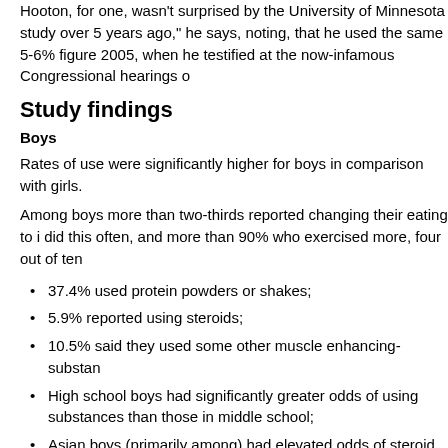Hooton, for one, wasn't surprised by the University of Minnesota study over 5 years ago," he says, noting, that he used the same 5-6% figure 2005, when he testified at the now-infamous Congressional hearings o
Study findings
Boys
Rates of use were significantly higher for boys in comparison with girls.
Among boys more than two-thirds reported changing their eating to i did this often, and more than 90% who exercised more, four out of ten
37.4% used protein powders or shakes;
5.9% reported using steroids;
10.5% said they used some other muscle enhancing-substan
High school boys had significantly greater odds of using substances than those in middle school;
Asian boys (primarily among) had elevated odds of steroid us
Overweight and obese boys were more likely to report muscle
Those participating in sports teams were significantly more